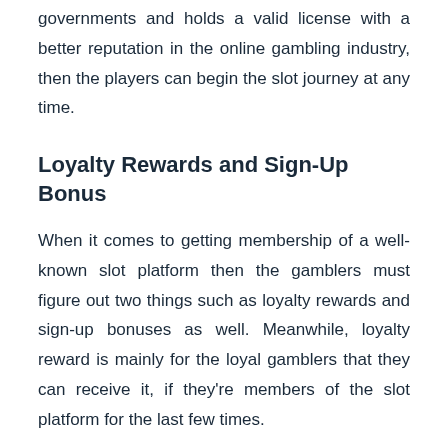governments and holds a valid license with a better reputation in the online gambling industry, then the players can begin the slot journey at any time.
Loyalty Rewards and Sign-Up Bonus
When it comes to getting membership of a well-known slot platform then the gamblers must figure out two things such as loyalty rewards and sign-up bonuses as well. Meanwhile, loyalty reward is mainly for the loyal gamblers that they can receive it, if they're members of the slot platform for the last few times.
On the other side, the sign-up bonus is also known as welcome bonus that can be obtained by the newcomers. When the beginners log into their account for the first